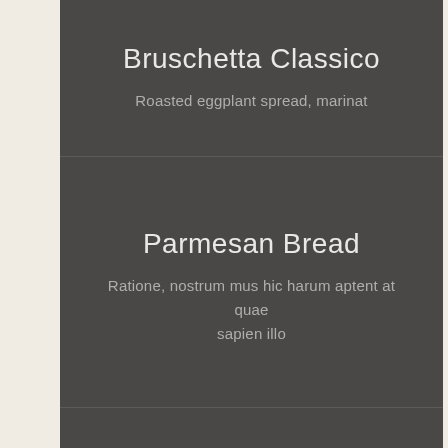Bruschetta Classico
Roasted eggplant spread, marinat
Parmesan Bread
Ratione, nostrum mus hic harum aptent at quae sapien illo
Banana Waffles
strum mus hic harum aptent at quae sapien illo
🇬🇷 Greek